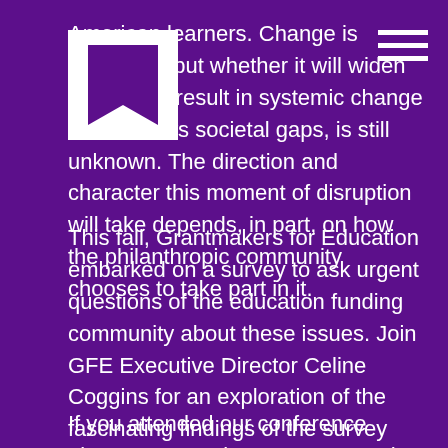American learners. Change is inevitable, but whether it will widen inequity or result in systemic change that narrows societal gaps, is still unknown. The direction and character this moment of disruption will take depends, in part, on how the philanthropic community chooses to take part in it.
This fall, Grantmakers for Education embarked on a survey to ask urgent questions of the education funding community about these issues. Join GFE Executive Director Celine Coggins for an exploration of the fascinating findings of the survey covering five interlocking themes central to transforming education and the official release of the report.
If you attended our conference plenary on October 14, you saw the sneak peek. Join this webinar for more